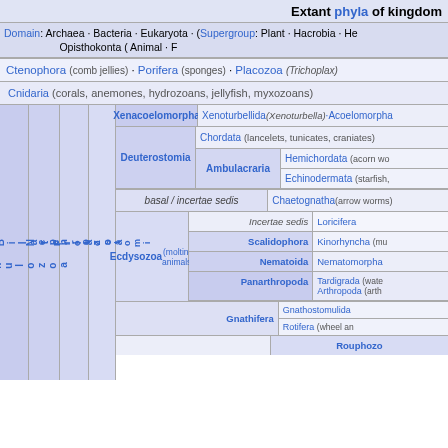Extant phyla of kingdom
Domain: Archaea · Bacteria · Eukaryota · (Supergroup: Plant · Hacrobia · He... Opisthokonta ( Animal · F...
Ctenophora (comb jellies) · Porifera (sponges) · Placozoa (Trichoplax)
Cnidaria (corals, anemones, hydrozoans, jellyfish, myxozoans)
[Figure (infographic): Hierarchical taxonomy diagram showing extant phyla of animal kingdom. Nested cells show Planulozoa > Bilateria > Nephrozoa branching into Deuterostomia (Chordata, Hemichordata, Echinodermata, Ambulacraria) and Protostomia > Ecdysozoa (Scalidophora, Nematoida, Panarthropoda, Incertae sedis, Loricifera) and Gnathifera (Gnathostomulida, Rotifera) and Rouphozoa; also Xenacoelomorpha with Xenoturbellida and Acoelomorpha; basal/incertae sedis Chaetognatha.]